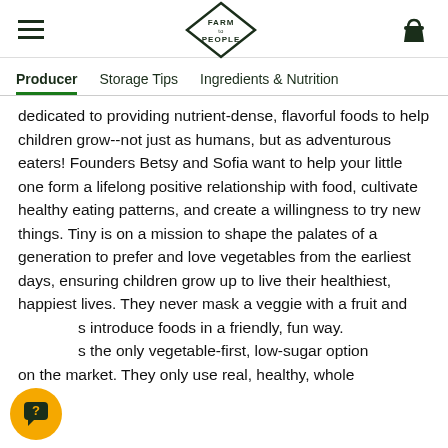FARM to PEOPLE
Producer | Storage Tips | Ingredients & Nutrition
dedicated to providing nutrient-dense, flavorful foods to help children grow--not just as humans, but as adventurous eaters! Founders Betsy and Sofia want to help your little one form a lifelong positive relationship with food, cultivate healthy eating patterns, and create a willingness to try new things. Tiny is on a mission to shape the palates of a generation to prefer and love vegetables from the earliest days, ensuring children grow up to live their healthiest, happiest lives. They never mask a veggie with a fruit and s introduce foods in a friendly, fun way. s the only vegetable-first, low-sugar option on the market. They only use real, healthy, whole